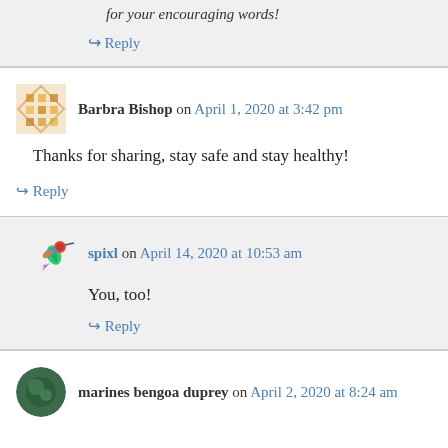for your encouraging words!
↳ Reply
Barbra Bishop on April 1, 2020 at 3:42 pm
Thanks for sharing, stay safe and stay healthy!
↳ Reply
spixl on April 14, 2020 at 10:53 am
You, too!
↳ Reply
marines bengoa duprey on April 2, 2020 at 8:24 am